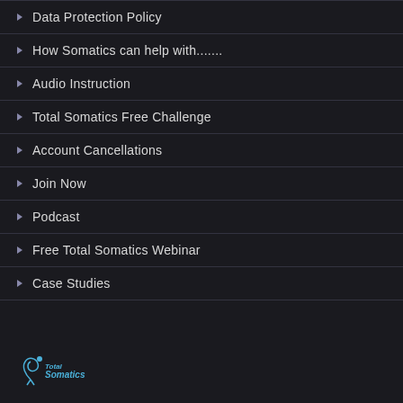Data Protection Policy
How Somatics can help with.......
Audio Instruction
Total Somatics Free Challenge
Account Cancellations
Join Now
Podcast
Free Total Somatics Webinar
Case Studies
[Figure (logo): Total Somatics logo with stylized figure and blue text]